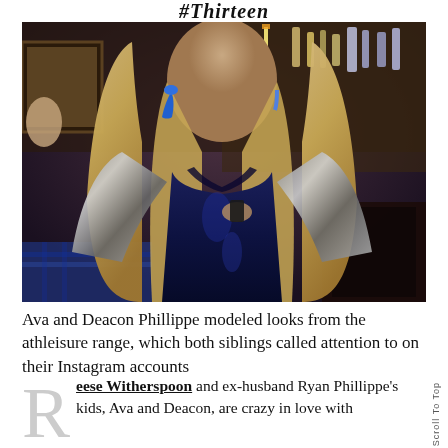#Thirteen
[Figure (photo): A woman in a dark navy/blue glossy outfit with sequined sleeves, long wavy blonde hair and statement earrings, posing in a room with trophies and antique decor in the background.]
Ava and Deacon Phillippe modeled looks from the athleisure range, which both siblings called attention to on their Instagram accounts
Reese Witherspoon and ex-husband Ryan Phillippe's kids, Ava and Deacon, are crazy in love with